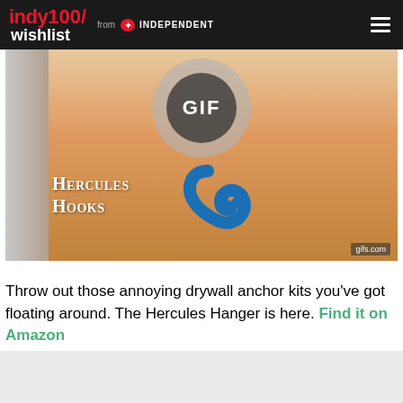indy100/wishlist from INDEPENDENT
[Figure (photo): GIF overlay on product video showing Hercules Hooks product with orange background. A large semi-transparent circle with inner dark circle displays 'GIF' text. Text on image reads 'HERCULES HOOKS' in white serif font. Watermark 'gifs.com' in bottom right corner.]
Throw out those annoying drywall anchor kits you've got floating around. The Hercules Hanger is here. Find it on Amazon